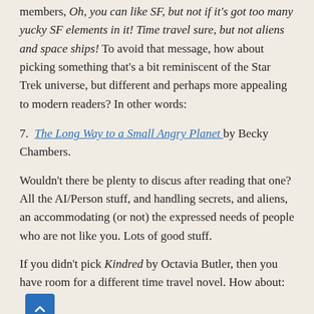members, Oh, you can like SF, but not if it's got too many yucky SF elements in it! Time travel sure, but not aliens and space ships! To avoid that message, how about picking something that's a bit reminiscent of the Star Trek universe, but different and perhaps more appealing to modern readers? In other words:
7. The Long Way to a Small Angry Planet by Becky Chambers.
Wouldn't there be plenty to discus after reading that one? All the AI/Person stuff, and handling secrets, and aliens, an accommodating (or not) the expressed needs of people who are not like you. Lots of good stuff.
If you didn't pick Kindred by Octavia Butler, then you have room for a different time travel novel. How about:
8. To Say Nothing of the Dog by Connie Willis.